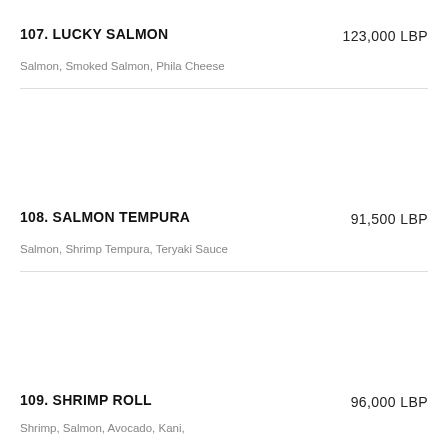107. LUCKY SALMON
123,000 LBP
Salmon, Smoked Salmon, Phila Cheese
108. SALMON TEMPURA
91,500 LBP
Salmon, Shrimp Tempura, Teryaki Sauce
109. SHRIMP ROLL
96,000 LBP
Shrimp, Salmon, Avocado, Kani, ...